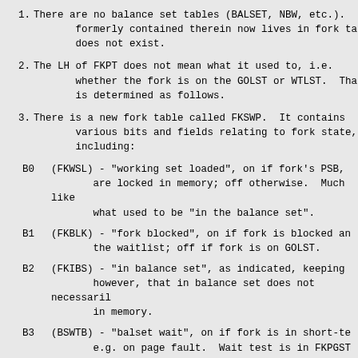1. There are no balance set tables (BALSET, NBW, etc.). formerly contained therein now lives in fork ta does not exist.
2. The LH of FKPT does not mean what it used to, i.e. whether the fork is on the GOLST or WTLST. That is determined as follows.
3. There is a new fork table called FKSWP. It contains various bits and fields relating to fork state, including:
B0 (FKWSL) - "working set loaded", on if fork's PSB, are locked in memory; off otherwise. Much like what used to be "in the balance set".
B1 (FKBLK) - "fork blocked", on if fork is blocked and the waitlist; off if fork is on GOLST.
B2 (FKIBS) - "in balance set", as indicated, keeping however, that in balance set does not necessarily in memory.
B3 (BSWTB) - "balset wait", on if fork is in short-te e.g. on page fault. Wait test is in FKPGST as
B4 (BSNSK) - "no sked", on if fork is nosked but only fork is not actually running.